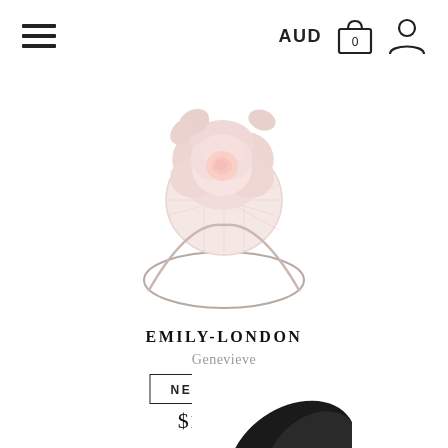AUD
[Figure (photo): Pink fascinator headband with a large pale pink rose and circular net base, shown on a metal hairband, on a white background.]
EMILY-LONDON
Genevieve
NEW SEASON
$1,565.00
[Figure (photo): Partial view of another dark fascinator product at the bottom of the page.]